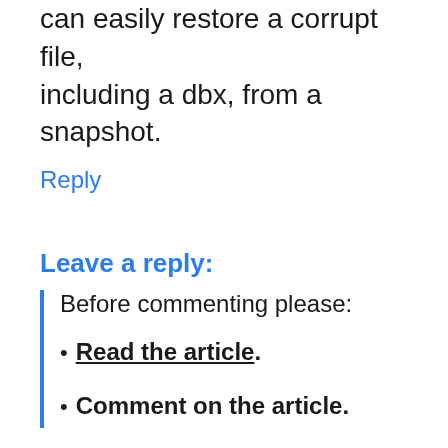can easily restore a corrupt file, including a dbx, from a snapshot.
Reply
Leave a reply:
Before commenting please:
Read the article.
Comment on the article.